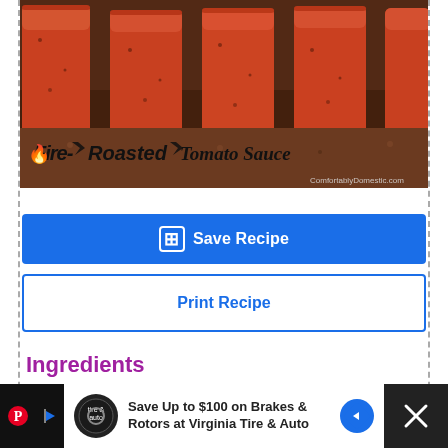[Figure (photo): Photo of four jars of fire-roasted tomato sauce on a granite surface, with stylized text 'Fire Roasted Tomato Sauce' and URL 'ComfortablyDomestic.com']
Save Recipe
Print Recipe
Ingredients
2 (28 oz.) cans whole, peeled tomatoes
[Figure (other): Advertisement bar: Save Up to $100 on Brakes & Rotors at Virginia Tire & Auto]